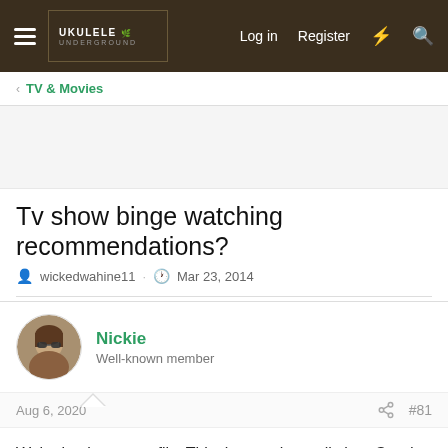UKULELE UNDERGROUND — Log in   Register
TV & Movies
Tv show binge watching recommendations?
wickedwahine11 · Mar 23, 2014
Nickie
Well-known member
Aug 6, 2020  #81
We're back onto netfilx. This time, we're really into Good Witch. Heartwarming stories of a town.
packer